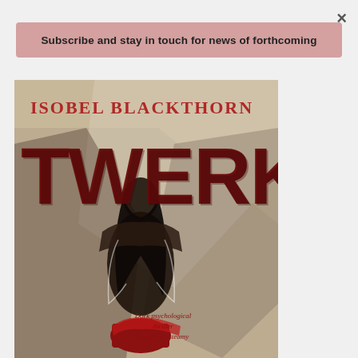×
Subscribe and stay in touch for news of forthcoming
[Figure (illustration): Book cover for 'Twerk' by Isobel Blackthorn. Features a grainy dark-toned image of a woman viewed from behind with her back exposed, wearing red clothing at the bottom. Large bold dark red text reads 'TWERK' in the center. Author name 'ISOBEL BLACKTHORN' appears in red serif font at the top. Bottom right contains the subtitle text 'Dark psychological thriller laced with steamy'.]